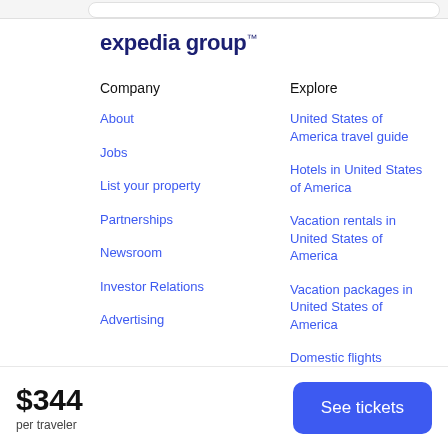[Figure (logo): Expedia Group logo in dark navy blue bold text]
Company
Explore
About
United States of America travel guide
Jobs
Hotels in United States of America
List your property
Vacation rentals in United States of America
Partnerships
Vacation packages in United States of America
Newsroom
Domestic flights
Investor Relations
Car rentals in United States of America
Advertising
$344
per traveler
See tickets